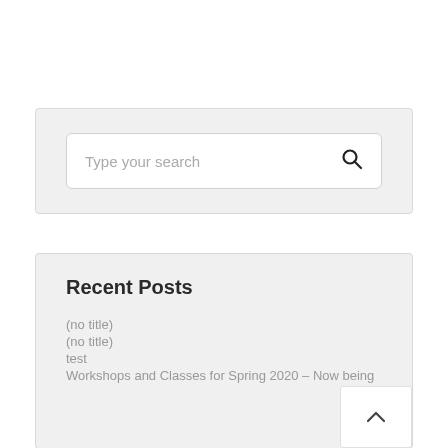[Figure (screenshot): Search input box with placeholder text 'Type your search' and a search icon on the right, inside a light gray container]
Recent Posts
(no title)
(no title)
test
Workshops and Classes for Spring 2020 – Now being